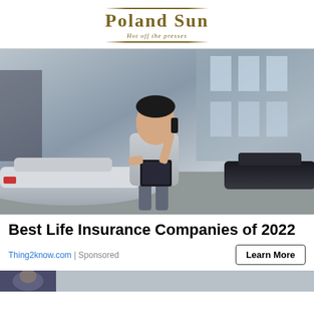Poland Sun — Hot off the presses
[Figure (photo): Man in grey shirt standing in a car dealership lot, talking on a phone while holding a clipboard/tablet. Multiple cars visible in background.]
Best Life Insurance Companies of 2022
Thing2know.com | Sponsored
[Figure (photo): Partial bottom strip showing another article image preview.]